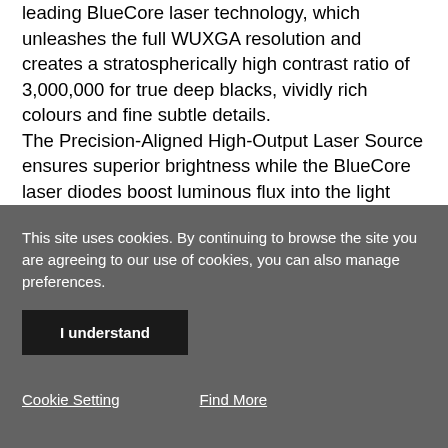leading BlueCore laser technology, which unleashes the full WUXGA resolution and creates a stratospherically high contrast ratio of 3,000,000 for true deep blacks, vividly rich colours and fine subtle details. The Precision-Aligned High-Output Laser Source ensures superior brightness while the BlueCore laser diodes boost luminous flux into the light tunnel, improving light efficacy to 5,000 lumens. Our LumiExpertTM technology automatically
This site uses cookies. By continuing to browse the site you are agreeing to our use of cookies, you can also manage preferences.
I understand
Cookie Setting    Find More